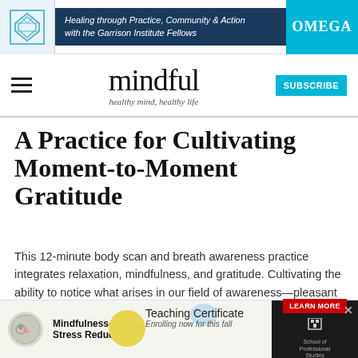[Figure (screenshot): Top banner advertisement for Omega Institute featuring Garrison Institute Fellows — 'Healing through Practice, Community & Action with the Garrison Institute Fellows' with OMEGA logo in teal on right]
mindful — healthy mind, healthy life — with SUBSCRIBE button
A Practice for Cultivating Moment-to-Moment Gratitude
This 12-minute body scan and breath awareness practice integrates relaxation, mindfulness, and gratitude. Cultivating the ability to notice what arises in our field of awareness—pleasant or unpleasant—with sustained attention.
[Figure (advertisement): Bottom advertisement for Mindfulness-Based Stress Reduction Teaching Certificate — 'Enrolling now for this fall' with School of Professional Studies logo and LEARN MORE button]